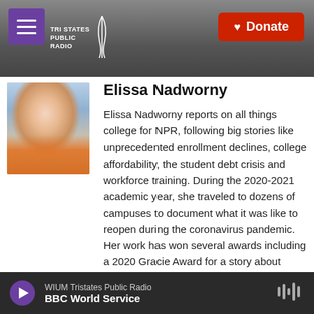Tri States Public Radio | Donate
[Figure (photo): Headshot photo of Elissa Nadworny, a woman with long blonde hair wearing an orange scarf]
Elissa Nadworny
Elissa Nadworny reports on all things college for NPR, following big stories like unprecedented enrollment declines, college affordability, the student debt crisis and workforce training. During the 2020-2021 academic year, she traveled to dozens of campuses to document what it was like to reopen during the coronavirus pandemic. Her work has won several awards including a 2020 Gracie Award for a story about student parents in college, a 2018 James Beard Award for a story about the Chinese-American population in
WIUM Tristates Public Radio | BBC World Service